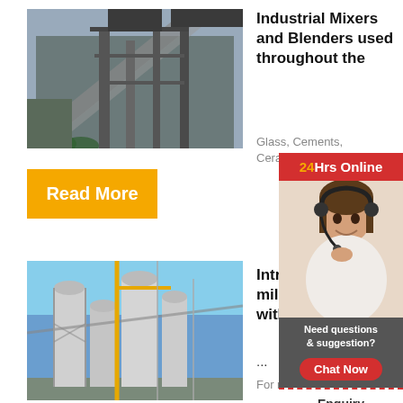[Figure (photo): Industrial mining or cement plant facility with large conveyor structures and scaffolding.]
Industrial Mixers and Blenders used throughout the
Glass, Cements, Ceramic...
Read More
[Figure (photo): Industrial milling plant with tall silos and steel structures under blue sky.]
Introduction milling with the...
...
For reason...
[Figure (photo): Customer support representative with headset — 24Hrs Online sidebar widget with chat and enquiry options.]